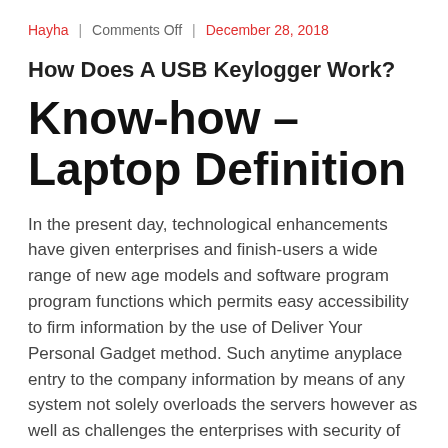Hayha | Comments Off | December 28, 2018
How Does A USB Keylogger Work?
Know-how – Laptop Definition
In the present day, technological enhancements have given enterprises and finish-users a wide range of new age models and software program program functions which permits easy accessibility to firm information by the use of Deliver Your Personal Gadget method. Such anytime anyplace entry to the company information by means of any system not solely overloads the servers however as well as challenges the enterprises with security of enterprise essential information.